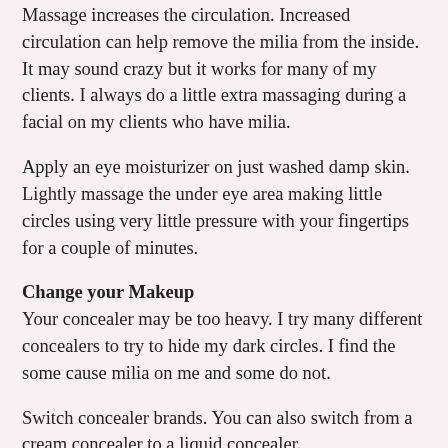Massage increases the circulation. Increased circulation can help remove the milia from the inside. It may sound crazy but it works for many of my clients. I always do a little extra massaging during a facial on my clients who have milia.
Apply an eye moisturizer on just washed damp skin. Lightly massage the under eye area making little circles using very little pressure with your fingertips for a couple of minutes.
Change your Makeup
Your concealer may be too heavy. I try many different concealers to try to hide my dark circles. I find the some cause milia on me and some do not.
Switch concealer brands. You can also switch from a cream concealer to a liquid concealer.
Apply your foundation first. It is a lighter product than